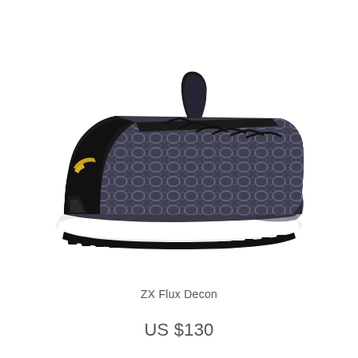[Figure (photo): Side profile photo of an Adidas ZX Flux Decon sneaker with dark grey/charcoal snakeskin-patterned upper, black heel collar and tongue, gold accent near the heel, black laces, and white midsole with black rubber outsole. Shoe faces left on a white background.]
ZX Flux Decon
US $130